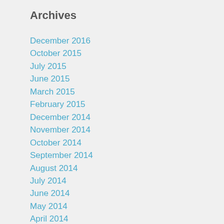Archives
December 2016
October 2015
July 2015
June 2015
March 2015
February 2015
December 2014
November 2014
October 2014
September 2014
August 2014
July 2014
June 2014
May 2014
April 2014
March 2014
February 2014
January 2014
August 2013
April 2013
March 2013